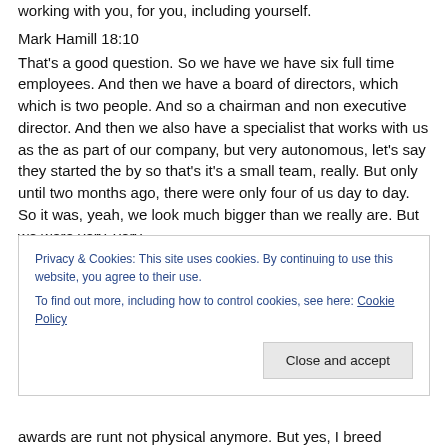working with you, for you, including yourself.
Mark Hamill 18:10
That's a good question. So we have we have six full time employees. And then we have a board of directors, which which is two people. And so a chairman and non executive director. And then we also have a specialist that works with us as the as part of our company, but very autonomous, let's say they started the by so that's it's a small team, really. But only until two months ago, there were only four of us day to day. So it was, yeah, we look much bigger than we really are. But we were very, very
Privacy & Cookies: This site uses cookies. By continuing to use this website, you agree to their use.
To find out more, including how to control cookies, see here: Cookie Policy
Close and accept
awards are runt not physical anymore. But yes, I breed